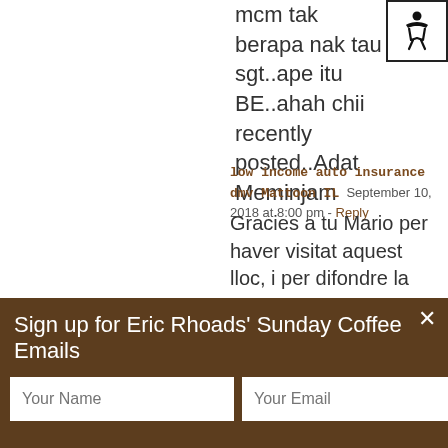mcm tak berapa nak tau sgt..ape itu BE..ahah chii recently posted..Adat Meminjam
low income auto insurance dmv Mattoon IL  September 10, 2018 at 8:00 pm - Reply
Gracies a tu Mario per haver visitat aquest lloc, i per difondre la seva existencia. Com sempre es un plaer tocar la dolÃ§aina amb gent com tu. El disabte vaig gaudir molt de la vostra companyia en Massamagrell.
Sign up for Eric Rhoads' Sunday Coffee Emails